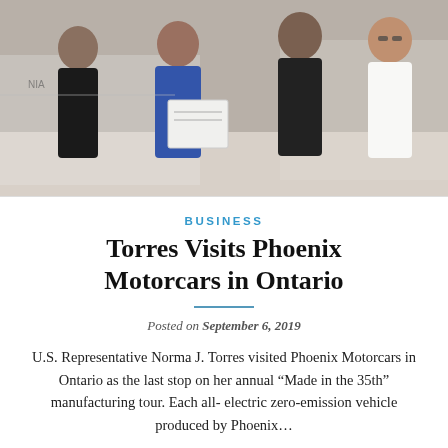[Figure (photo): Group photo of four people posing in front of a white electric vehicle (Phoenix Motorcars). A woman in a blue blazer holds a framed certificate or document. Others are dressed in formal and business casual attire.]
BUSINESS
Torres Visits Phoenix Motorcars in Ontario
Posted on September 6, 2019
U.S. Representative Norma J. Torres visited Phoenix Motorcars in Ontario as the last stop on her annual “Made in the 35th” manufacturing tour. Each all-electric zero-emission vehicle produced by Phoenix…